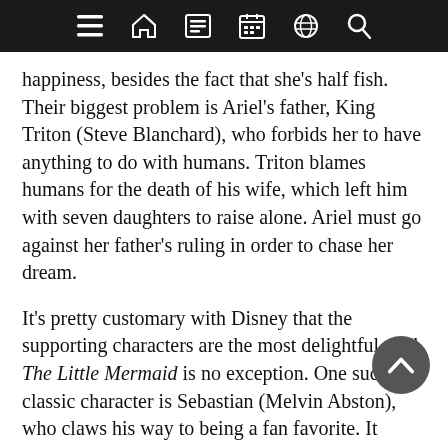Navigation bar with icons: menu, home, list, calendar, globe, search
happiness, besides the fact that she's half fish. Their biggest problem is Ariel's father, King Triton (Steve Blanchard), who forbids her to have anything to do with humans. Triton blames humans for the death of his wife, which left him with seven daughters to raise alone. Ariel must go against her father's ruling in order to chase her dream.
It's pretty customary with Disney that the supporting characters are the most delightful, and The Little Mermaid is no exception. One such classic character is Sebastian (Melvin Abston), who claws his way to being a fan favorite. It doesn't require a 'snap' decision to determine that Abston is a prized catch. His movements, vocal reflections, and especially singing voice are superb. I may never be able to eat any crab again. I'm just thankful that Sebastian isn't a catfish. A highlight of the show is 'Under the Sea,' which is both